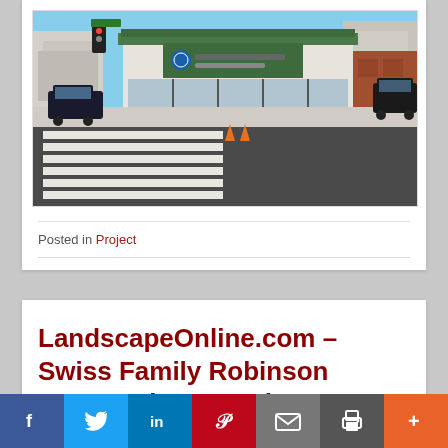[Figure (photo): Street-level photo of an urban intersection showing a restaurant building with green trim and a logo sign, crosswalk stripes in the foreground, traffic lights, and parked/passing vehicles under a blue sky.]
Posted in Project
LandscapeOnline.com – Swiss Family Robinson meets Urban Jungle